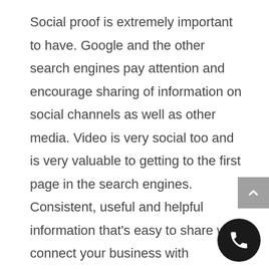Social proof is extremely important to have. Google and the other search engines pay attention and encourage sharing of information on social channels as well as other media. Video is very social too and is very valuable to getting to the first page in the search engines. Consistent, useful and helpful information that's easy to share will connect your business with customers and inform the search engines your product is active and relevant online.